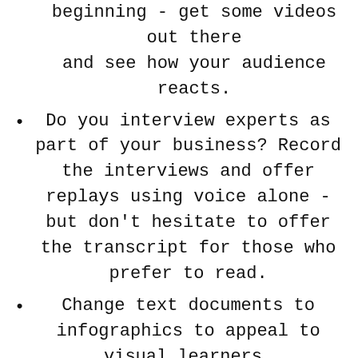beginning - get some videos out there and see how your audience reacts.
Do you interview experts as part of your business? Record the interviews and offer replays using voice alone - but don't hesitate to offer the transcript for those who prefer to read.
Change text documents to infographics to appeal to visual learners.
What other interests do you have that you can bring into your business? For example, if you're into photography but your business is